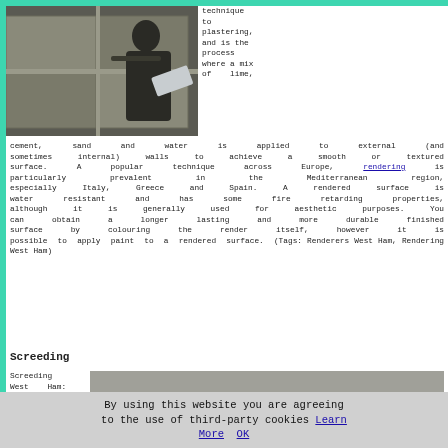[Figure (photo): A person plastering/rendering a wall with large concrete blocks visible]
technique to plastering, and is the process where a mix of lime, cement, sand and water is applied to external (and sometimes internal) walls to achieve a smooth or textured surface. A popular technique across Europe, rendering is particularly prevalent in the Mediterranean region, especially Italy, Greece and Spain. A rendered surface is water resistant and has some fire retarding properties, although it is generally used for aesthetic purposes. You can obtain a longer lasting and more durable finished surface by colouring the render itself, however it is possible to apply paint to a rendered surface. (Tags: Renderers West Ham, Rendering West Ham)
Screeding
Screeding West Ham: Some
[Figure (photo): Screeding tools on a concrete surface, with a red handle screed bar visible]
By using this website you are agreeing to the use of third-party cookies Learn More OK